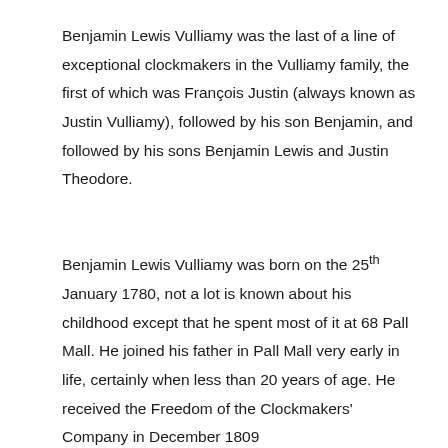Benjamin Lewis Vulliamy was the last of a line of exceptional clockmakers in the Vulliamy family, the first of which was François Justin (always known as Justin Vulliamy), followed by his son Benjamin, and followed by his sons Benjamin Lewis and Justin Theodore.
Benjamin Lewis Vulliamy was born on the 25th January 1780, not a lot is known about his childhood except that he spent most of it at 68 Pall Mall. He joined his father in Pall Mall very early in life, certainly when less than 20 years of age. He received the Freedom of the Clockmakers' Company in December 1809